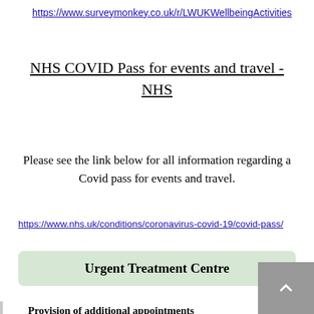https://www.surveymonkey.co.uk/r/LWUKWellbeingActivities
NHS COVID Pass for events and travel - NHS
Please see the link below for all information regarding a Covid pass for events and travel.
https://www.nhs.uk/conditions/coronavirus-covid-19/covid-pass/
Urgent Treatment Centre
Provision of additional appointments
We now have early morning and some weekend appointments available.